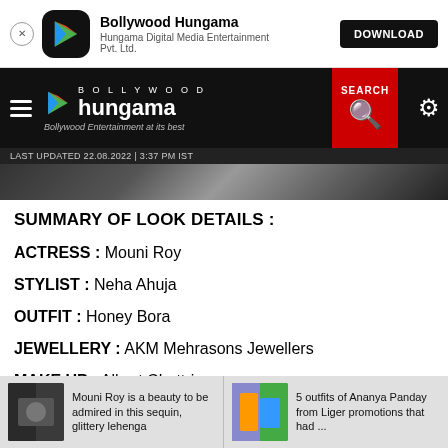[Figure (screenshot): App download banner for Bollywood Hungama app]
[Figure (screenshot): Bollywood Hungama website navigation bar with logo, hamburger menu, search button, and settings icon]
LAST UPDATED 22.08.2022 | 3:37 PM IST
[Figure (photo): Dark photo strip showing entertainment content]
SUMMARY OF LOOK DETAILS :
ACTRESS : Mouni Roy
STYLIST : Neha Ahuja
OUTFIT : Honey Bora
JEWELLERY : AKM Mehrasons Jewellers
MAKE UP : Albert Chettrier
[Figure (photo): Related article thumbnail: Mouni Roy is a beauty to be admired in this sequin, glittery lehenga]
Mouni Roy is a beauty to be admired in this sequin, glittery lehenga
[Figure (photo): Related article thumbnail: 5 outfits of Ananya Panday from Liger promotions that had ...]
5 outfits of Ananya Panday from Liger promotions that had ...